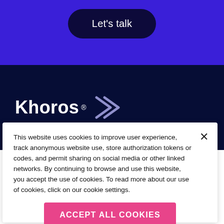Let's talk
[Figure (logo): Khoros logo with stylized arrow/chevron icon in white on dark navy background]
This website uses cookies to improve user experience, track anonymous website use, store authorization tokens or codes, and permit sharing on social media or other linked networks. By continuing to browse and use this website, you accept the use of cookies. To read more about our use of cookies, click on our cookie settings.
Accept all cookies